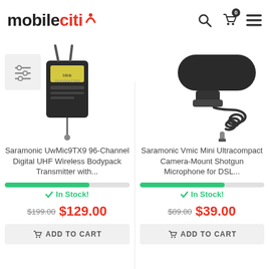[Figure (logo): mobileciti logo with red signal bars]
[Figure (photo): Saramonic UwMic9TX9 wireless bodypack transmitter with lavalier microphone]
Saramonic UwMic9TX9 96-Channel Digital UHF Wireless Bodypack Transmitter with...
In Stock!
$199.00 $129.00
ADD TO CART
[Figure (photo): Saramonic Vmic Mini ultracompact camera-mount shotgun microphone with coiled cable]
Saramonic Vmic Mini Ultracompact Camera-Mount Shotgun Microphone for DSL...
In Stock!
$89.00 $39.00
ADD TO CART